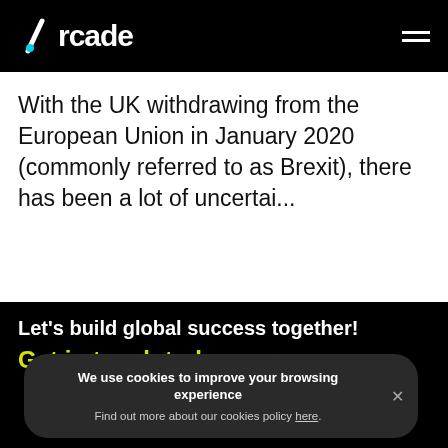Arcade
With the UK withdrawing from the European Union in January 2020 (commonly referred to as Brexit), there has been a lot of uncertai...
Let's build global success together!
Get in touch today →
We use cookies to improve your browsing experience
Find out more about our cookies policy here.